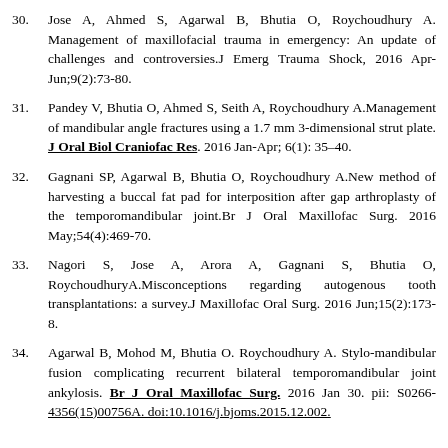30. Jose A, Ahmed S, Agarwal B, Bhutia O, Roychoudhury A. Management of maxillofacial trauma in emergency: An update of challenges and controversies.J Emerg Trauma Shock, 2016 Apr-Jun;9(2):73-80.
31. Pandey V, Bhutia O, Ahmed S, Seith A, Roychoudhury A.Management of mandibular angle fractures using a 1.7 mm 3-dimensional strut plate. J Oral Biol Craniofac Res. 2016 Jan-Apr; 6(1): 35–40.
32. Gagnani SP, Agarwal B, Bhutia O, Roychoudhury A.New method of harvesting a buccal fat pad for interposition after gap arthroplasty of the temporomandibular joint.Br J Oral Maxillofac Surg. 2016 May;54(4):469-70.
33. Nagori S, Jose A, Arora A, Gagnani S, Bhutia O, RoychoudhuryA.Misconceptions regarding autogenous tooth transplantations: a survey.J Maxillofac Oral Surg. 2016 Jun;15(2):173-8.
34. Agarwal B, Mohod M, Bhutia O. Roychoudhury A. Stylo-mandibular fusion complicating recurrent bilateral temporomandibular joint ankylosis. Br J Oral Maxillofac Surg. 2016 Jan 30. pii: S0266-4356(15)00756A. doi:10.1016/j.bjoms.2015.12.002.